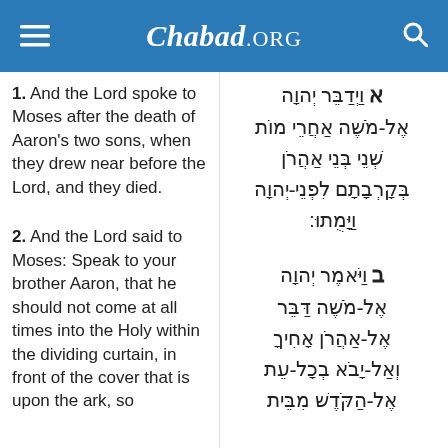Chabad.ORG
1.  And the Lord spoke to Moses after the death of Aaron's two sons, when they drew near before the Lord, and they died.
א וַיְדַבֵּר יְהוָה אֶל-מֹשֶׁה אַחֲרֵי מוֹת שְׁנֵי בְּנֵי אַהֲרֹן בְּקָרְבָתָם לִפְנֵי-יְהוָה וַיָּמֻתוּ
2.  And the Lord said to Moses: Speak to your brother Aaron, that he should not come at all times into the Holy within the dividing curtain, in front of the cover that is upon the ark, so
ב וַיֹּאמֶר יְהוָה אֶל-מֹשֶׁה דַּבֵּר אֶל-אַהֲרֹן אָחִיךָ וְאַל-יָבֹא בְכָל-עֵת אֶל-הַקֹּדֶשׁ מִבֵּית